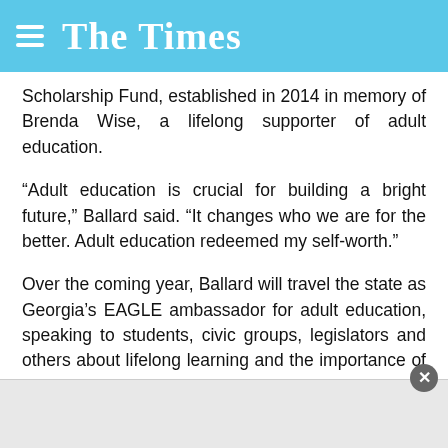The Times
Scholarship Fund, established in 2014 in memory of Brenda Wise, a lifelong supporter of adult education.
“Adult education is crucial for building a bright future,” Ballard said. “It changes who we are for the better. Adult education redeemed my self-worth.”
Over the coming year, Ballard will travel the state as Georgia’s EAGLE ambassador for adult education, speaking to students, civic groups, legislators and others about lifelong learning and the importance of earning a GED credential.